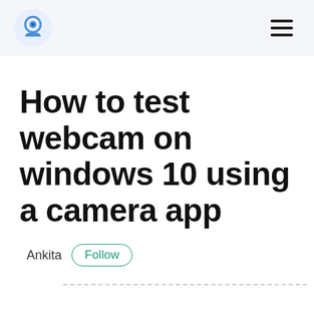webcam test logo and hamburger menu
How to test webcam on windows 10 using a camera app
Ankita  Follow